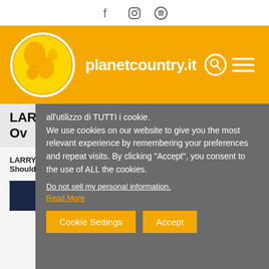Social icons: Facebook, Instagram, Spotify
[Figure (logo): planetcountry.it website header with globe logo on orange background, site name 'planetcountry.it', search and menu icons]
LARRY ... Ov...
LARRY SPAR... Shoulder"
all'utilizzo di TUTTI i cookie. We use cookies on our website to give you the most relevant experience by remembering your preferences and repeat visits. By clicking “Accept”, you consent to the use of ALL the cookies. Do not sell my personal information. Read More
Cookie Settings | Accept